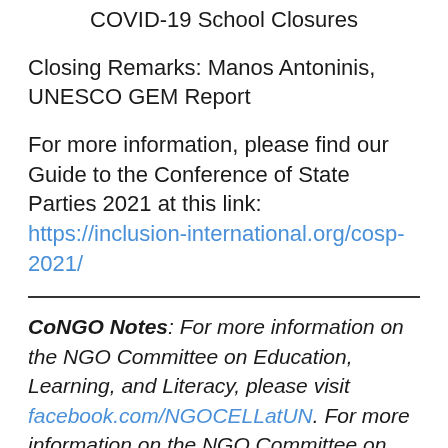COVID-19 School Closures
Closing Remarks: Manos Antoninis, UNESCO GEM Report
For more information, please find our Guide to the Conference of State Parties 2021 at this link: https://inclusion-international.org/cosp-2021/
CoNGO Notes: For more information on the NGO Committee on Education, Learning, and Literacy, please visit facebook.com/NGOCELLatUN. For more information on the NGO Committee on Social Development, please visit ngosocdev.org.